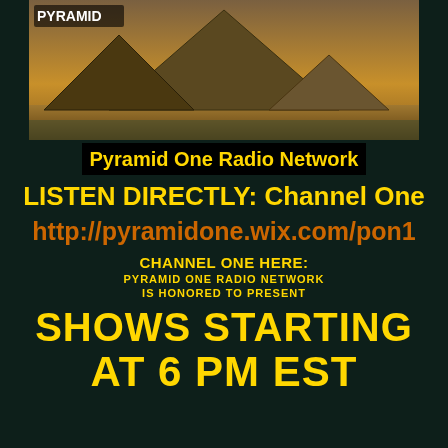[Figure (photo): Photograph of Egyptian pyramids at sunset with 'PYRAMID' text overlay in top-left corner]
Pyramid One Radio Network
LISTEN DIRECTLY: Channel One
http://pyramidone.wix.com/pon1
CHANNEL ONE HERE:
PYRAMID ONE RADIO NETWORK IS HONORED TO PRESENT
SHOWS STARTING AT 6 PM EST